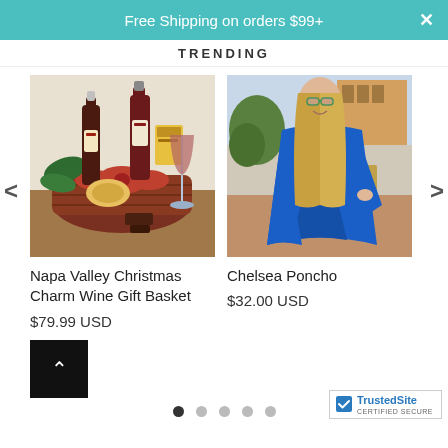Free Shipping on orders $99+
TRENDING
[Figure (photo): Wine gift basket with red wine bottles, snacks, pine branches, and a glass of red wine on a wooden surface]
Napa Valley Christmas Charm Wine Gift Basket
$79.99 USD
[Figure (photo): Woman smiling outdoors wearing a bright blue poncho/shawl, with glasses and long hair]
Chelsea Poncho
$32.00 USD